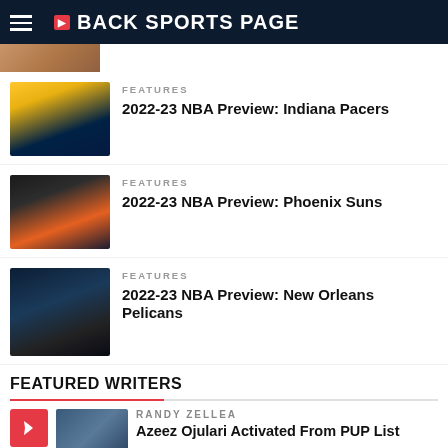BACK SPORTS PAGE
[Figure (photo): Partial image strip at top]
FEATURES
2022-23 NBA Preview: Indiana Pacers
[Figure (photo): Indiana Pacers players holding jerseys]
FEATURES
2022-23 NBA Preview: Phoenix Suns
[Figure (photo): Phoenix Suns players on court]
FEATURES
2022-23 NBA Preview: New Orleans Pelicans
[Figure (photo): New Orleans Pelicans players huddle]
FEATURED WRITERS
RANDY ZELLEA
Azeez Ojulari Activated From PUP List